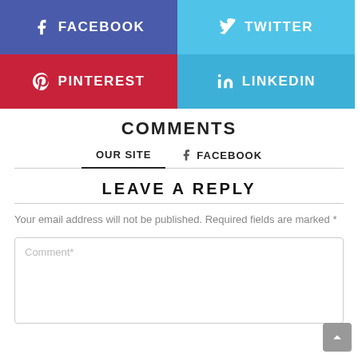[Figure (infographic): Social media share buttons: Facebook (blue-purple), Twitter (light blue), Pinterest (red), LinkedIn (blue)]
COMMENTS
OUR SITE   FACEBOOK
LEAVE A REPLY
Your email address will not be published. Required fields are marked *
Comment*